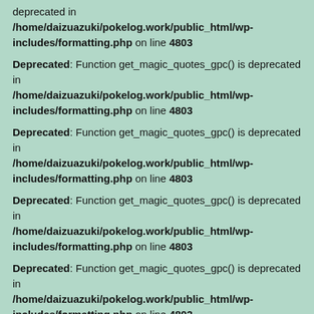deprecated in /home/daizuazuki/pokelog.work/public_html/wp-includes/formatting.php on line 4803
Deprecated: Function get_magic_quotes_gpc() is deprecated in /home/daizuazuki/pokelog.work/public_html/wp-includes/formatting.php on line 4803
Deprecated: Function get_magic_quotes_gpc() is deprecated in /home/daizuazuki/pokelog.work/public_html/wp-includes/formatting.php on line 4803
Deprecated: Function get_magic_quotes_gpc() is deprecated in /home/daizuazuki/pokelog.work/public_html/wp-includes/formatting.php on line 4803
Deprecated: Function get_magic_quotes_gpc() is deprecated in /home/daizuazuki/pokelog.work/public_html/wp-includes/formatting.php on line 4803
Deprecated: Function get_magic_quotes_gpc() is deprecated in